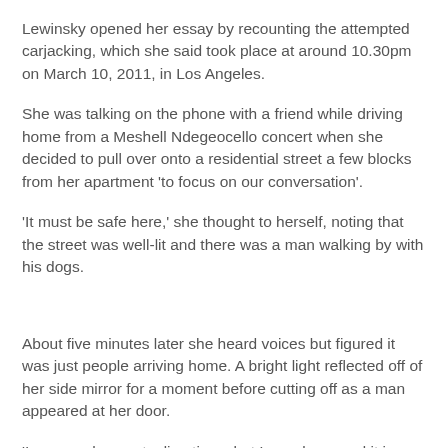Lewinsky opened her essay by recounting the attempted carjacking, which she said took place at around 10.30pm on March 10, 2011, in Los Angeles.
She was talking on the phone with a friend while driving home from a Meshell Ndegeocello concert when she decided to pull over onto a residential street a few blocks from her apartment 'to focus on our conversation'.
'It must be safe here,' she thought to herself, noting that the street was well-lit and there was a man walking by with his dogs.
About five minutes later she heard voices but figured it was just people arriving home. A bright light reflected off of her side mirror for a moment before cutting off as a man appeared at her door.
'I assume he wants directions, but I am alone, and it is nighttime,' she wrote. 'As I am about to shoo him away, I look